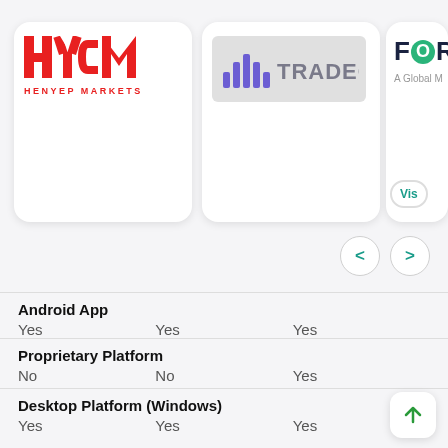[Figure (logo): HYCM Henyep Markets logo — red bold letters]
[Figure (logo): Tradeo logo — purple bars and TRADEO text on grey background]
[Figure (logo): FOR[ex] logo — partially visible, dark blue text with green globe O, tagline A Global M...]
[Figure (infographic): Navigation left and right arrow buttons (carousel controls)]
| Feature | HYCM | Tradeo | Forex |
| --- | --- | --- | --- |
| Android App | Yes | Yes | Yes |
| Proprietary Platform | No | No | Yes |
| Desktop Platform (Windows) | Yes | Yes | Yes |